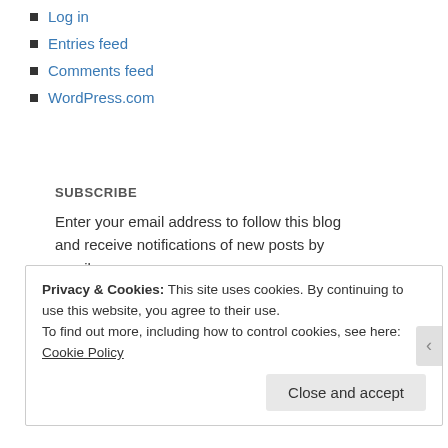Log in
Entries feed
Comments feed
WordPress.com
SUBSCRIBE
Enter your email address to follow this blog and receive notifications of new posts by email.
Email Address
subscribe
Join 236 other followers
Privacy & Cookies: This site uses cookies. By continuing to use this website, you agree to their use.
To find out more, including how to control cookies, see here: Cookie Policy
Close and accept